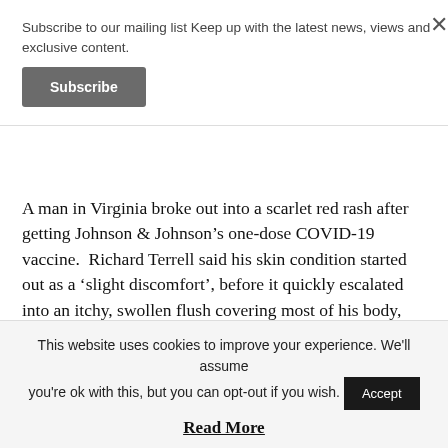Subscribe to our mailing list Keep up with the latest news, views and exclusive content.
Subscribe
A man in Virginia broke out into a scarlet red rash after getting Johnson & Johnson’s one-dose COVID-19 vaccine. Richard Terrell said his skin condition started out as a ‘slight discomfort’, before it quickly escalated into an itchy, swollen flush covering most of his body, until his skin eventually started peeling off. He sought a dermatologist’s help, and the doctor [Read More…]
by Janine Griffiths — 0 comments — Health, Health and Safety,
This website uses cookies to improve your experience. We'll assume you're ok with this, but you can opt-out if you wish.
Accept
Read More